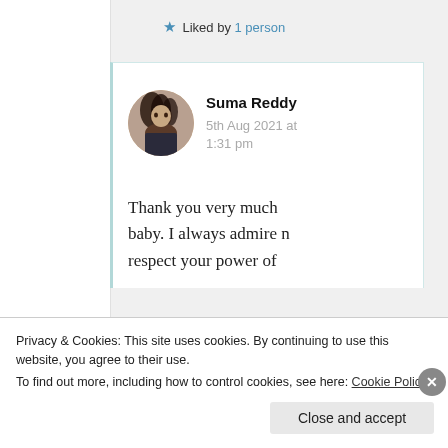★ Liked by 1 person
[Figure (photo): Circular avatar photo of Suma Reddy, a woman with long dark hair]
Suma Reddy
5th Aug 2021 at 1:31 pm
Thank you very much baby. I always admire n respect your power of
Privacy & Cookies: This site uses cookies. By continuing to use this website, you agree to their use.
To find out more, including how to control cookies, see here: Cookie Policy